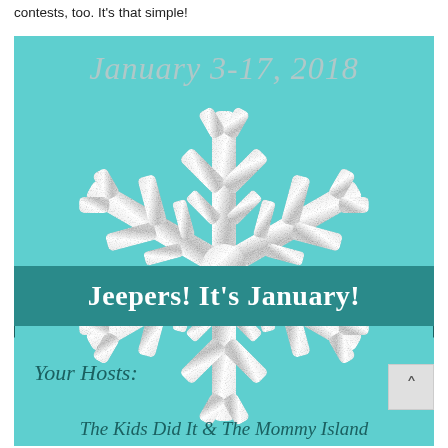contests, too. It's that simple!
[Figure (illustration): A teal/aqua background promotional image for 'Jeepers! It's January!' blog event, January 3-17, 2018. Features a large silver glitter snowflake in the center, a teal banner with white text 'Jeepers! It's January!', italic gray date text 'January 3-17, 2018' at the top, and text at the bottom reading 'Your Hosts:' and 'The Kids Did It & The Mommy Island'.]
Your Hosts:
The Kids Did It & The Mommy Island